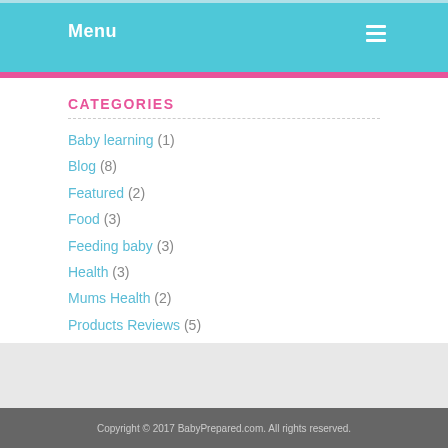Menu
CATEGORIES
Baby learning (1)
Blog (8)
Featured (2)
Food (3)
Feeding baby (3)
Health (3)
Mums Health (2)
Products Reviews (5)
Baby Monitors (1)
Car Seats (2)
Strollers (2)
Copyright © 2017 BabyPrepared.com. All rights reserved.